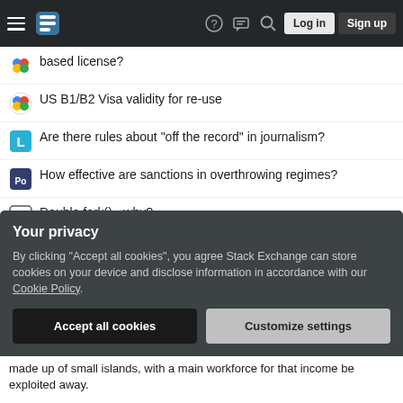Stack Exchange navigation bar with hamburger menu, logo, help, chat, search icons, Log in and Sign up buttons
based license?
US B1/B2 Visa validity for re-use
Are there rules about "off the record" in journalism?
How effective are sanctions in overthrowing regimes?
Double fork() - why?
How to know if this is a band-pass filter?
Decomposition of real quasimodular forms of depth 1
What is the basis for the Jesus Seminar's search for the "Historical Jesus" movement?
Mechanic told me to replace the entire brake system because of "slow
Your privacy
By clicking "Accept all cookies", you agree Stack Exchange can store cookies on your device and disclose information in accordance with our Cookie Policy.
Accept all cookies
Customize settings
made up of small islands, with a main workforce for that income be exploited away.